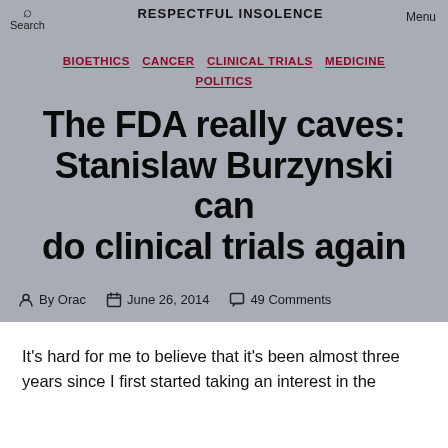Search | RESPECTFUL INSOLENCE | Menu
BIOETHICS | CANCER | CLINICAL TRIALS | MEDICINE | POLITICS
The FDA really caves: Stanislaw Burzynski can do clinical trials again
By Orac  June 26, 2014  49 Comments
It’s hard for me to believe that it’s been almost three years since I first started taking an interest in the